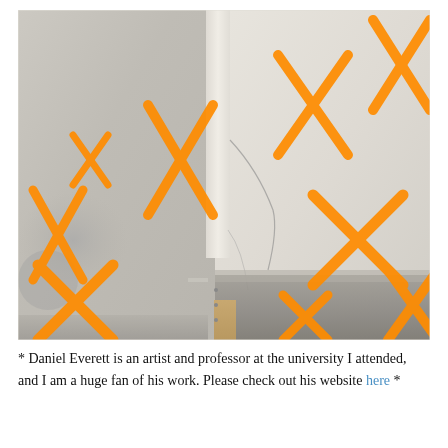[Figure (photo): Photograph of interior wall corner with orange spray-painted X marks covering surfaces. Walls show damage, patching, and mold/moisture staining along the baseboard area. Multiple orange X symbols are visible across both wall panels and edges.]
* Daniel Everett is an artist and professor at the university I attended, and I am a huge fan of his work. Please check out his website here *